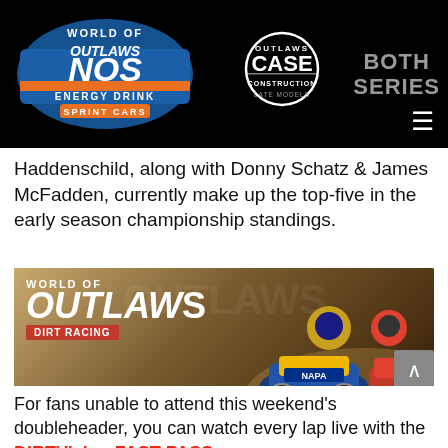[Figure (logo): World of Outlaws NOS Energy Drink Sprint Cars logo, World of Outlaws CASE Construction Late Models logo, BOTH SERIES text on black header bar]
Haddenschild, along with Donny Schatz & James McFadden, currently make up the top-five in the early season championship standings.
[Figure (photo): World of Outlaws Dirt Racing video game advertisement banner with PREORDER NOW! text, showing two race drivers and sprint car, available on XBOX ONE, XBOX SERIES X|S, PS4, PS5]
For fans unable to attend this weekend's doubleheader, you can watch every lap live with the DIRTVision FAST PASS.